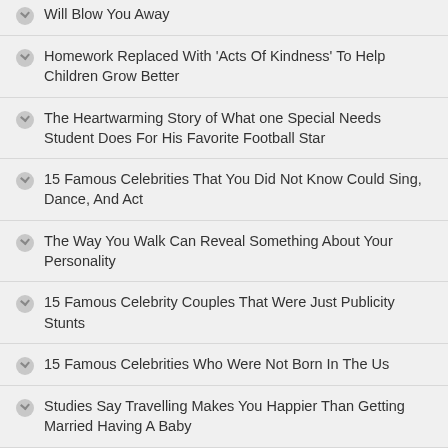Will Blow You Away
Homework Replaced With 'Acts Of Kindness' To Help Children Grow Better
The Heartwarming Story of What one Special Needs Student Does For His Favorite Football Star
15 Famous Celebrities That You Did Not Know Could Sing, Dance, And Act
The Way You Walk Can Reveal Something About Your Personality
15 Famous Celebrity Couples That Were Just Publicity Stunts
15 Famous Celebrities Who Were Not Born In The Us
Studies Say Travelling Makes You Happier Than Getting Married Having A Baby